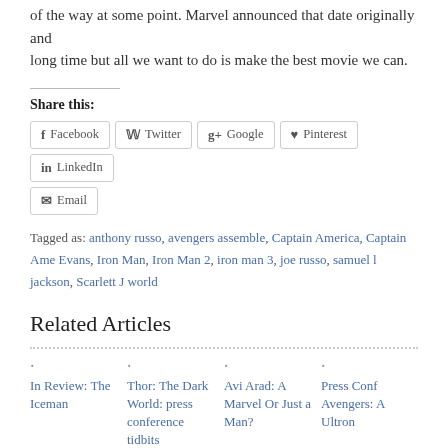of the way at some point. Marvel announced that date originally and long time but all we want to do is make the best movie we can.
Share this:
Facebook  Twitter  Google+  Pinterest  LinkedIn  Email
Tagged as: anthony russo, avengers assemble, Captain America, Captain Ame Evans, Iron Man, Iron Man 2, iron man 3, joe russo, samuel l jackson, Scarlett J world
Related Articles
In Review: The Iceman
Thor: The Dark World: press conference tidbits
Avi Arad: A Marvel Or Just a Man?
Press Conf Avengers: A Ultron
{ 0 comments… add one now }